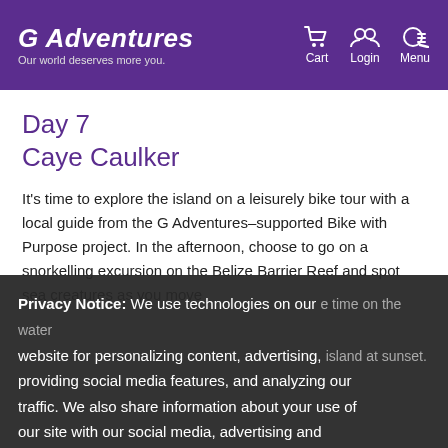G Adventures — Our world deserves more you. | Cart | Login | Menu
Day 7
Caye Caulker
It's time to explore the island on a leisurely bike tour with a local guide from the G Adventures–supported Bike with Purpose project. In the afternoon, choose to go on a snorkelling excursion on the Belize Barrier Reef and spot sea creatures as you move through the water... island at sunset.
Privacy Notice: We use technologies on our website for personalizing content, advertising, providing social media features, and analyzing our traffic. We also share information about your use of our site with our social media, advertising and analytics partners. By continuing to use this website, you consent to our use of this technology. You can control this through your Privacy Options.